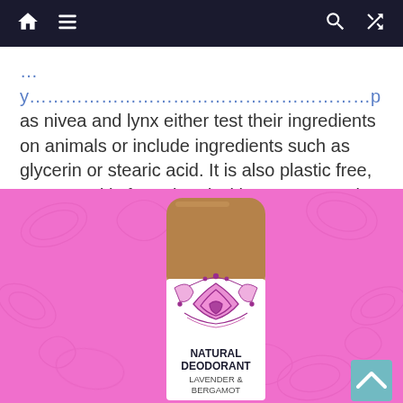Navigation bar with home, menu, search, and shuffle icons
as nivea and lynx either test their ingredients on animals or include ingredients such as glycerin or stearic acid. It is also plastic free, vegan and is formulated with 100% natural ingredients.
[Figure (photo): Natural deodorant stick in a cardboard tube with a pink mandala-style decorative band, labeled NATURAL DEODORANT LAVENDER & BERGAMOT, on a pink patterned background.]